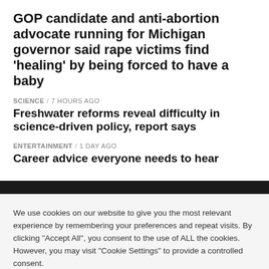GOP candidate and anti-abortion advocate running for Michigan governor said rape victims find ‘healing’ by being forced to have a baby
SCIENCE / 7 hours ago
Freshwater reforms reveal difficulty in science-driven policy, report says
ENTERTAINMENT / 1 day ago
Career advice everyone needs to hear
We use cookies on our website to give you the most relevant experience by remembering your preferences and repeat visits. By clicking “Accept All”, you consent to the use of ALL the cookies. However, you may visit “Cookie Settings” to provide a controlled consent.
Cookie Settings
Accept All